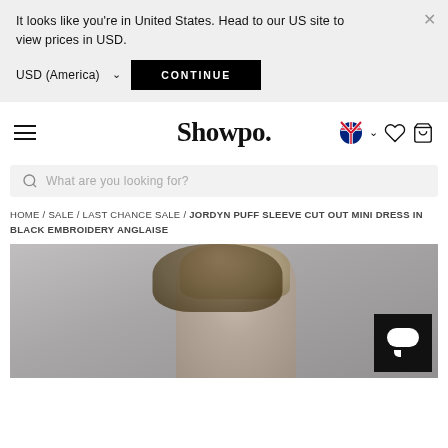It looks like you're in United States. Head to our US site to view prices in USD.
USD (America) ∨   CONTINUE
Showpo.
What are you looking for?
HOME / SALE / LAST CHANCE SALE / JORDYN PUFF SLEEVE CUT OUT MINI DRESS IN BLACK EMBROIDERY ANGLAISE
[Figure (photo): Model wearing dress, partial view of face and upper body against grey background]